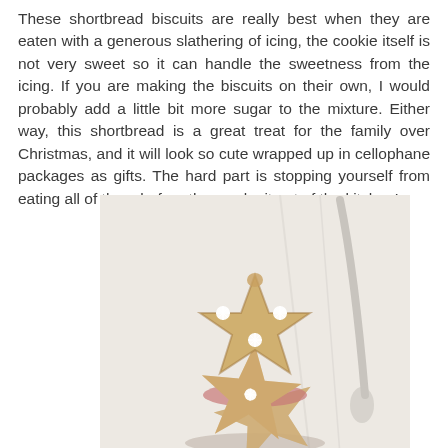These shortbread biscuits are really best when they are eaten with a generous slathering of icing, the cookie itself is not very sweet so it can handle the sweetness from the icing. If you are making the biscuits on their own, I would probably add a little bit more sugar to the mixture. Either way, this shortbread is a great treat for the family over Christmas, and it will look so cute wrapped up in cellophane packages as gifts. The hard part is stopping yourself from eating all of them before they make it out of the kitchen!
[Figure (photo): A stack of Christmas tree-shaped shortbread biscuits decorated with white snowflake icing decorations, on a light marble surface with a spoon visible in the background.]